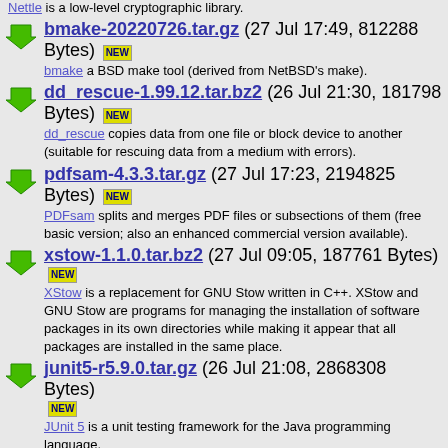Nettle is a low-level cryptographic library.
bmake-20220726.tar.gz (27 Jul 17:49, 812288 Bytes) NEW
bmake a BSD make tool (derived from NetBSD's make).
dd_rescue-1.99.12.tar.bz2 (26 Jul 21:30, 181798 Bytes) NEW
dd_rescue copies data from one file or block device to another (suitable for rescuing data from a medium with errors).
pdfsam-4.3.3.tar.gz (27 Jul 17:23, 2194825 Bytes) NEW
PDFsam splits and merges PDF files or subsections of them (free basic version; also an enhanced commercial version available).
xstow-1.1.0.tar.bz2 (27 Jul 09:05, 187761 Bytes) NEW
XStow is a replacement for GNU Stow written in C++. XStow and GNU Stow are programs for managing the installation of software packages in its own directories while making it appear that all packages are installed in the same place.
junit5-r5.9.0.tar.gz (26 Jul 21:08, 2868308 Bytes) NEW
JUnit 5 is a unit testing framework for the Java programming language.